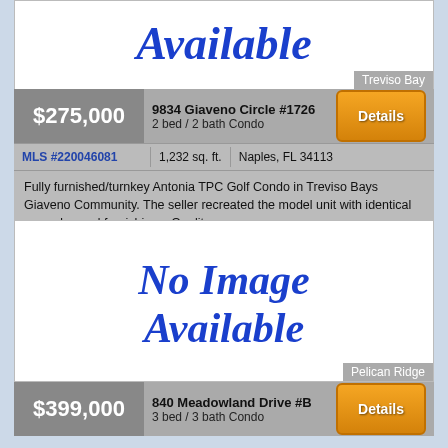[Figure (illustration): No Image Available placeholder for Treviso Bay listing]
Treviso Bay
| Price | Address | Action |
| --- | --- | --- |
| $275,000 | 9834 Giaveno Circle #1726
2 bed / 2 bath Condo | Details |
| MLS | Sq Ft | Location |
| --- | --- | --- |
| MLS #220046081 | 1,232 sq. ft. | Naples, FL 34113 |
Fully furnished/turnkey Antonia TPC Golf Condo in Treviso Bays Giaveno Community. The seller recreated the model unit with identical upgrades and furnishings. Quality
[Figure (illustration): No Image Available placeholder for Pelican Ridge listing]
Pelican Ridge
| Price | Address | Action |
| --- | --- | --- |
| $399,000 | 840 Meadowland Drive #B
3 bed / 3 bath Condo | Details |